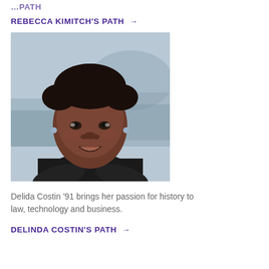…PATH
REBECCA KIMITCH'S PATH →
[Figure (photo): Portrait photo of Delida Costin, a Black woman with short curly hair wearing a black turtleneck sweater, arms crossed, smiling, with a blurred outdoor background.]
Delida Costin '91 brings her passion for history to law, technology and business.
DELINDA COSTIN'S PATH →